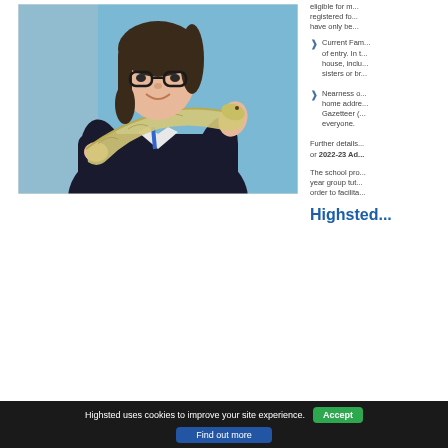[Figure (photo): A schoolgirl wearing glasses and a dark school uniform, smiling and holding a yellow/white snake wrapped around her arm. Background is light blue.]
eligible for ... registered fo... have only b...
Current Fam... of entry. In t... house, inclu... sisters or br...
Nearness o... home addre... Gazetteer (... everyone.
Further details ... or 2022-23 Ad...
The school pro... year group tut... order to facilita...
Highsted...
Highsted uses cookies to improve your site experience.
Accept
Find out more